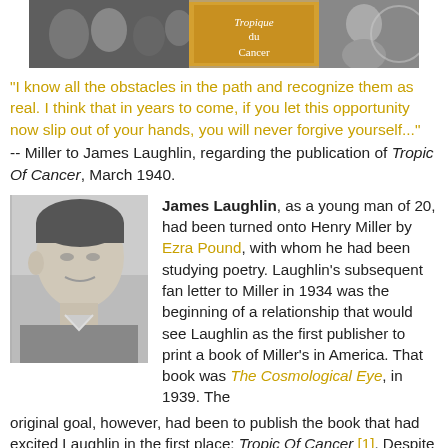[Figure (photo): Banner image showing collage of Henry Miller related imagery including a book cover reading 'Tropique du Cancer']
"I know all the obstacles in the path and recognize them as real. I think that in years to come, if you let this opportunity now slip out of your hands, you will never forgive yourself..." -- Miller to James Laughlin, regarding the publication of Tropic Of Cancer, March 1940.
[Figure (photo): Black and white portrait photograph of James Laughlin as a young man, side profile]
James Laughlin, as a young man of 20, had been turned onto Henry Miller by Ezra Pound, with whom he had been studying poetry. Laughlin's subsequent fan letter to Miller in 1934 was the beginning of a relationship that would see Laughlin as the first publisher to print a book of Miller's in America. That book was The Cosmological Eye, in 1939. The original goal, however, had been to publish the book that had excited Laughlin in the first place: Tropic Of Cancer [1]. Despite a daring public announcement to do so, the hostile atmosphere created by American censors made this an impossible task.